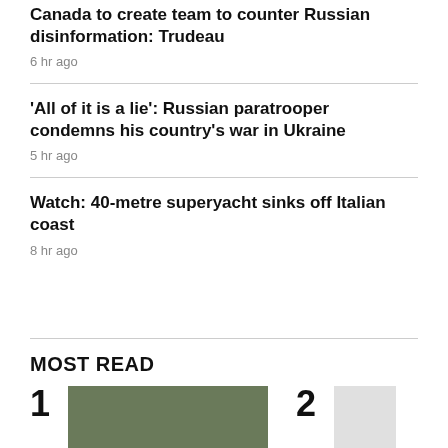Canada to create team to counter Russian disinformation: Trudeau
6 hr ago
'All of it is a lie': Russian paratrooper condemns his country's war in Ukraine
5 hr ago
Watch: 40-metre superyacht sinks off Italian coast
8 hr ago
MOST READ
[Figure (photo): Thumbnail image for most read article 1 showing green foliage]
[Figure (photo): Thumbnail image for most read article 2, partially visible]